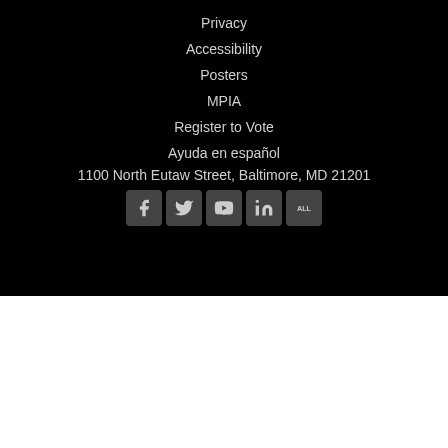Privacy
Accessibility
Posters
MPIA
Register to Vote
Ayuda en español
1100 North Eutaw Street, Baltimore, MD 21201
[Figure (other): Social media icons: Facebook, Twitter, YouTube, LinkedIn, ALL]